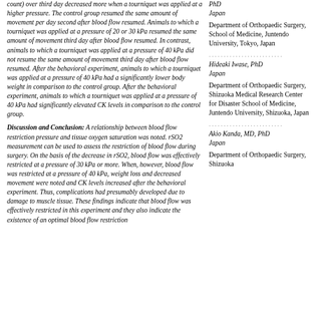count) over third day decreased more when a tourniquet was applied at a higher pressure. The control group resumed the same amount of movement per day second after blood flow resumed. Animals to which a tourniquet was applied at a pressure of 20 or 30 kPa resumed the same amount of movement third day after blood flow resumed. In contrast, animals to which a tourniquet was applied at a pressure of 40 kPa did not resume the same amount of movement third day after blood flow resumed. After the behavioral experiment, animals to which a tourniquet was applied at a pressure of 40 kPa had a significantly lower body weight in comparison to the control group. After the behavioral experiment, animals to which a tourniquet was applied at a pressure of 40 kPa had significantly elevated CK levels in comparison to the control group.
Discussion and Conclusion: A relationship between blood flow restriction pressure and tissue oxygen saturation was noted. rSO2 measurement can be used to assess the restriction of blood flow during surgery. On the basis of the decrease in rSO2, blood flow was effectively restricted at a pressure of 30 kPa or more. When, however, blood flow was restricted at a pressure of 40 kPa, weight loss and decreased movement were noted and CK levels increased after the behavioral experiment. Thus, complications had presumably developed due to damage to muscle tissue. These findings indicate that blood flow was effectively restricted in this experiment and they also indicate the existence of an optimal blood flow restriction
PhD
Japan
Department of Orthopaedic Surgery, School of Medicine, Juntendo University, Tokyo, Japan
Hideaki Iwase, PhD
Japan
Department of Orthopaedic Surgery, Shizuoka Medical Research Center for Disaster School of Medicine, Juntendo University, Shizuoka, Japan
Akio Kanda, MD, PhD
Japan
Department of Orthopaedic Surgery, Shizuoka